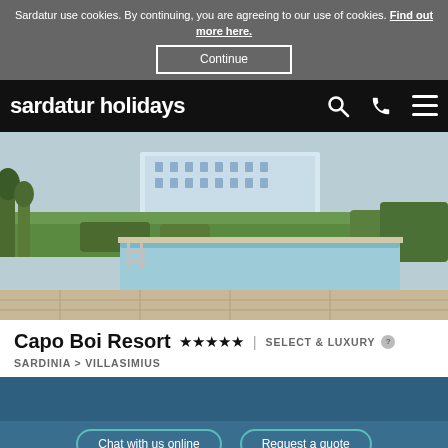Sardatur use cookies. By continuing, you are agreeing to our use of cookies. Find out more here.
Continue
sardatur holidays
[Figure (photo): Outdoor infinity swimming pool with stone patio in foreground, lush green shrubs and palm trees in background, white resort building visible in the distance]
Capo Boi Resort ★★★★★ | SELECT & LUXURY
SARDINIA > VILLASIMIUS
Chat with us online
Request a quote